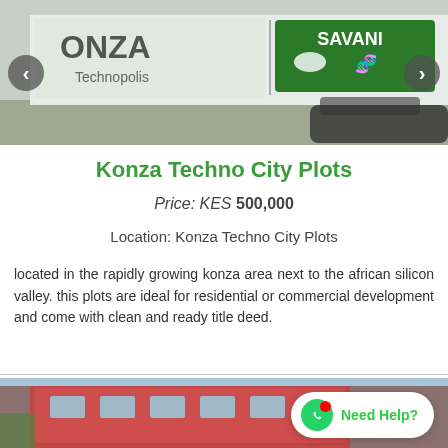[Figure (photo): Photo of Konza Technopolis signage and Savanna billboard with logos; navigation arrows on left and right]
Konza Techno City Plots
Price: KES 500,000
Location: Konza Techno City Plots
located in the rapidly growing konza area next to the african silicon valley. this plots are ideal for residential or commercial development and come with clean and ready title deed.
[Figure (photo): Photo of a red and white multi-story building, partially visible at bottom of page]
Need Help?